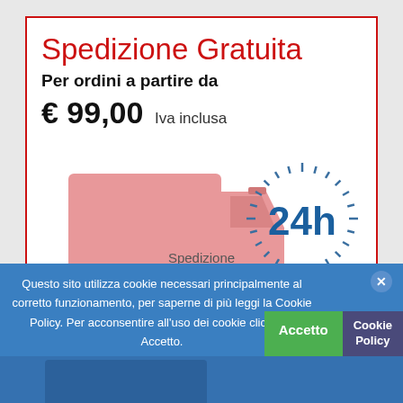Spedizione Gratuita
Per ordini a partire da € 99,00  Iva inclusa
[Figure (illustration): Pink delivery truck icon with a blue 24h circular badge/timer graphic on the right side, indicating 24-hour delivery.]
Spedizione
Questo sito utilizza cookie necessari principalmente al corretto funzionamento, per saperne di più leggi la Cookie Policy. Per acconsentire all'uso dei cookie clicca su Accetto.